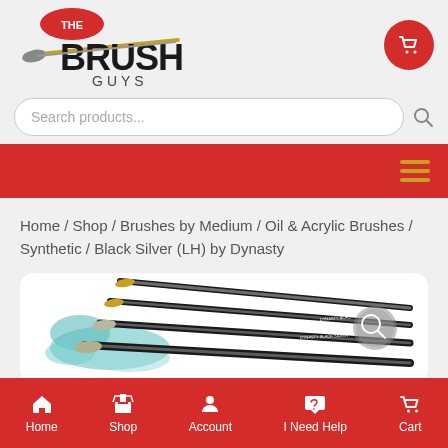[Figure (logo): The Brush Guys logo with paintbrush graphic, bold black text BRUSH, red bubble with THE, and GUYS subtitle]
[Figure (other): Red circular cart icon in top right]
[Figure (other): Search bar with rounded border and placeholder text 'Search products...' with search icon]
[Figure (other): Red navigation bar with golden hamburger menu icon on right]
Home / Shop / Brushes by Medium / Oil & Acrylic Brushes / Synthetic / Black Silver (LH) by Dynasty
[Figure (photo): Product photo of Black Silver (LH) brushes by Dynasty showing multiple paintbrushes with black handles and silver ferrules on a teal/white paint splash background]
Home   Shop   Account   I Need Help   Cart